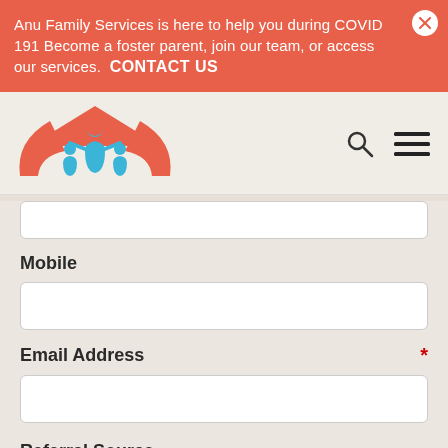Anu Family Services is here to help you during COVID-191 Become a foster parent, join our team, or access our services. CONTACT US
[Figure (logo): Anu Family Services logo — stylized family of figures in red/orange and blue under a red roof shape]
Mobile
Email Address *
Referral Source
Internet Ad   Agency Referral